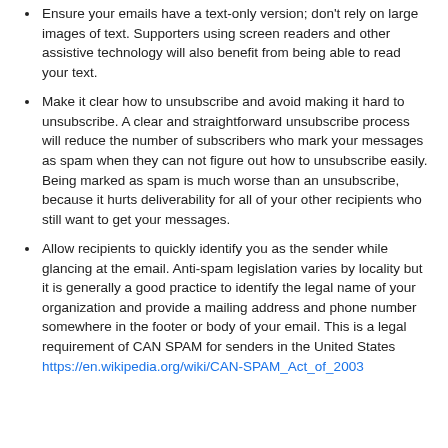Ensure your emails have a text-only version; don't rely on large images of text. Supporters using screen readers and other assistive technology will also benefit from being able to read your text.
Make it clear how to unsubscribe and avoid making it hard to unsubscribe. A clear and straightforward unsubscribe process will reduce the number of subscribers who mark your messages as spam when they can not figure out how to unsubscribe easily. Being marked as spam is much worse than an unsubscribe, because it hurts deliverability for all of your other recipients who still want to get your messages.
Allow recipients to quickly identify you as the sender while glancing at the email. Anti-spam legislation varies by locality but it is generally a good practice to identify the legal name of your organization and provide a mailing address and phone number somewhere in the footer or body of your email. This is a legal requirement of CAN SPAM for senders in the United States https://en.wikipedia.org/wiki/CAN-SPAM_Act_of_2003